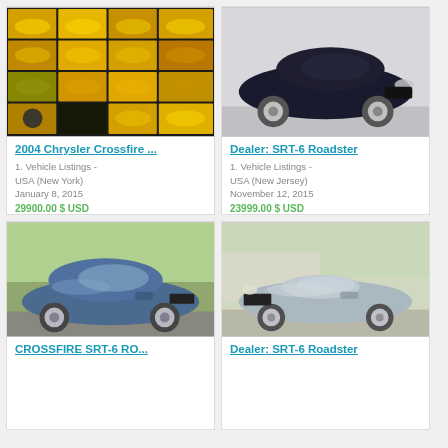[Figure (photo): Yellow Chrysler Crossfire photo collage grid showing multiple angles]
2004 Chrysler Crossfire ...
1. Vehicle Listings -
USA (New York)
January 8, 2015
29900.00 $ USD
[Figure (photo): Black Chrysler Crossfire SRT-6 Roadster side view]
Dealer: SRT-6 Roadster
1. Vehicle Listings -
USA (New Jersey)
November 12, 2015
23999.00 $ USD
[Figure (photo): Blue Chrysler Crossfire SRT-6 Roadster side view on grass/pavement]
CROSSFIRE SRT-6 RO...
[Figure (photo): Silver/light blue Chrysler Crossfire SRT-6 Roadster convertible front view]
Dealer: SRT-6 Roadster